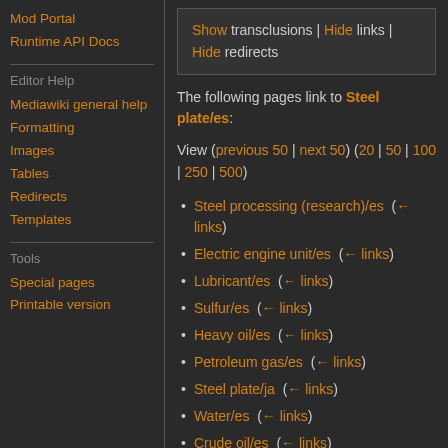Mod Portal
Runtime API Docs
Editor Help
Mediawiki general help
Formatting
Images
Tables
Redirects
Templates
Tools
Special pages
Printable version
Show transclusions | Hide links | Hide redirects
The following pages link to Steel plate/es:
View (previous 50 | next 50) (20 | 50 | 100 | 250 | 500)
Steel processing (research)/es  ( ← links)
Electric engine unit/es  ( ← links)
Lubricant/es  ( ← links)
Sulfur/es  ( ← links)
Heavy oil/es  ( ← links)
Petroleum gas/es  ( ← links)
Steel plate/ja  ( ← links)
Water/es  ( ← links)
Crude oil/es  ( ← links)
Flying robot frame/es  ( ← links)
Sulfuric acid/es  ( ← links)